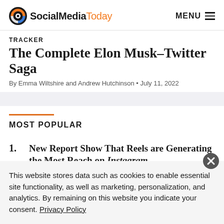SocialMediaToday | MENU
TRACKER
The Complete Elon Musk–Twitter Saga
By Emma Wiltshire and Andrew Hutchinson • July 11, 2022
MOST POPULAR
1. New Report Show That Reels are Generating the Most Reach on Instagram
This website stores data such as cookies to enable essential site functionality, as well as marketing, personalization, and analytics. By remaining on this website you indicate your consent. Privacy Policy